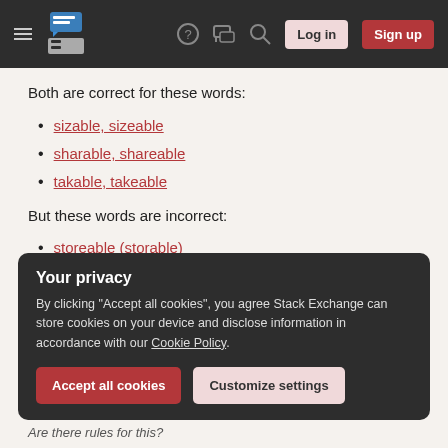Stack Exchange navigation bar with menu, logo, help, chat, search, log in, sign up
Both are correct for these words:
sizable, sizeable
sharable, shareable
takable, takeable
But these words are incorrect:
storeable (storable)
makeable (makable)
Your privacy
By clicking "Accept all cookies", you agree Stack Exchange can store cookies on your device and disclose information in accordance with our Cookie Policy.
Are there rules for this?